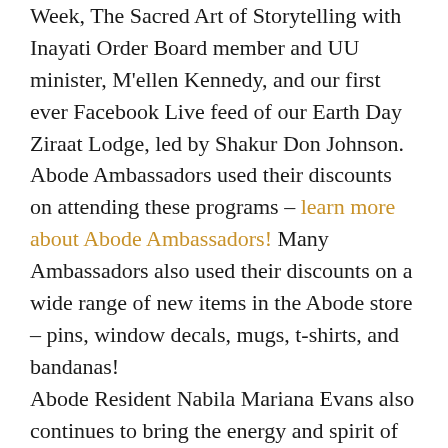Week, The Sacred Art of Storytelling with Inayati Order Board member and UU minister, M'ellen Kennedy, and our first ever Facebook Live feed of our Earth Day Ziraat Lodge, led by Shakur Don Johnson. Abode Ambassadors used their discounts on attending these programs – learn more about Abode Ambassadors! Many Ambassadors also used their discounts on a wide range of new items in the Abode store – pins, window decals, mugs, t-shirts, and bandanas! Abode Resident Nabila Mariana Evans also continues to bring the energy and spirit of the Abode off property...